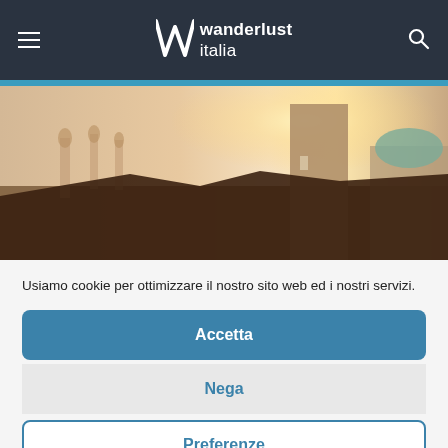wanderlust italia
[Figure (photo): Rooftop view of Italian city buildings with a tall stone tower and domed structures against a bright sky.]
Usiamo cookie per ottimizzare il nostro sito web ed i nostri servizi.
Accetta
Nega
Preferenze